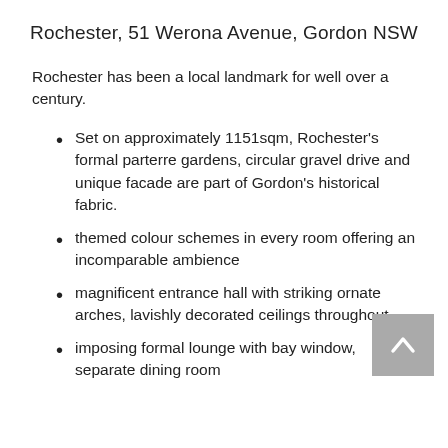Rochester, 51 Werona Avenue, Gordon NSW
Rochester has been a local landmark for well over a century.
Set on approximately 1151sqm, Rochester's formal parterre gardens, circular gravel drive and unique facade are part of Gordon's historical fabric.
themed colour schemes in every room offering an incomparable ambience
magnificent entrance hall with striking ornate arches, lavishly decorated ceilings throughout
imposing formal lounge with bay window, separate dining room